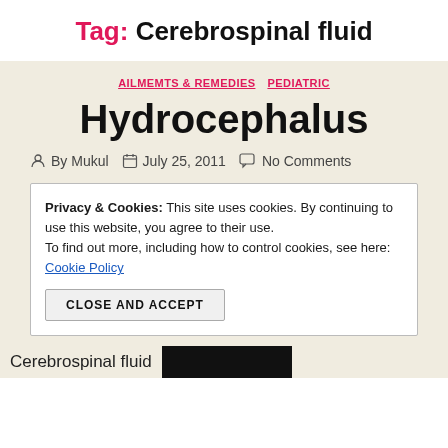Tag: Cerebrospinal fluid
AILMEMTS & REMEDIES   PEDIATRIC
Hydrocephalus
By Mukul   July 25, 2011   No Comments
Privacy & Cookies: This site uses cookies. By continuing to use this website, you agree to their use. To find out more, including how to control cookies, see here: Cookie Policy
CLOSE AND ACCEPT
Cerebrospinal fluid